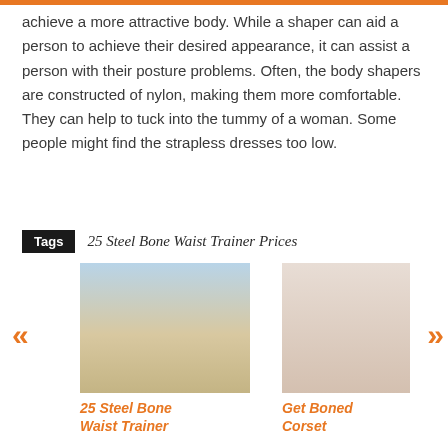achieve a more attractive body. While a shaper can aid a person to achieve their desired appearance, it can assist a person with their posture problems. Often, the body shapers are constructed of nylon, making them more comfortable. They can help to tuck into the tummy of a woman. Some people might find the strapless dresses too low.
Tags  25 Steel Bone Waist Trainer Prices
[Figure (photo): Person standing on a beach wearing dark pants and a jacket]
25 Steel Bone Waist Trainer
[Figure (photo): Blonde woman in a white shirt]
Get Boned Corset